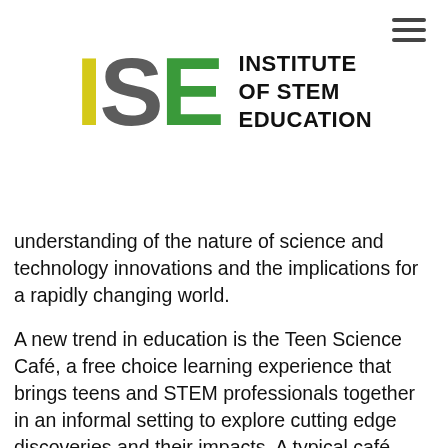[Figure (logo): ISE Institute of STEM Education logo. 'I' in yellow, 'S' in gray, 'E' in green, followed by bold text 'INSTITUTE OF STEM EDUCATION']
understanding of the nature of science and technology innovations and the implications for a rapidly changing world.
A new trend in education is the Teen Science Café, a free choice learning experience that brings teens and STEM professionals together in an informal setting to explore cutting edge discoveries and their impacts. A typical café program starts with a short 20-minute talk, followed by wide-ranging conversation